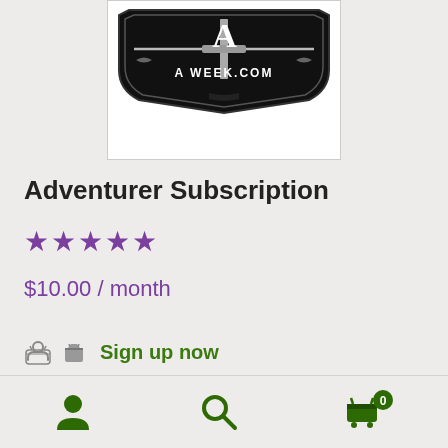[Figure (logo): Black shield-shaped logo with sword and text 'AWEEK.COM' for an adventurer subscription website]
Adventurer Subscription
★★★★★ (4.5 stars rating)
$10.00 / month
🛒 Sign up now
Miscellaneous
[Figure (illustration): Bottom navigation bar with person icon, search icon, and shopping cart icon with badge showing 0]